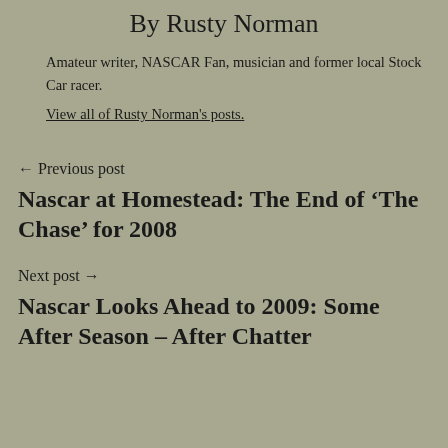By Rusty Norman
Amateur writer, NASCAR Fan, musician and former local Stock Car racer.
View all of Rusty Norman's posts.
← Previous post
Nascar at Homestead: The End of 'The Chase' for 2008
Next post →
Nascar Looks Ahead to 2009: Some After Season – After Chatter